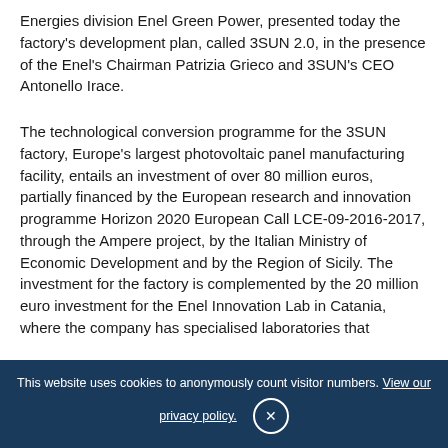Energies division Enel Green Power, presented today the factory's development plan, called 3SUN 2.0, in the presence of the Enel's Chairman Patrizia Grieco and 3SUN's CEO Antonello Irace.
The technological conversion programme for the 3SUN factory, Europe's largest photovoltaic panel manufacturing facility, entails an investment of over 80 million euros, partially financed by the European research and innovation programme Horizon 2020 European Call LCE-09-2016-2017, through the Ampere project, by the Italian Ministry of Economic Development and by the Region of Sicily. The investment for the factory is complemented by the 20 million euro investment for the Enel Innovation Lab in Catania, where the company has specialised laboratories that
This website uses cookies to anonymously count visitor numbers. View our privacy policy. ×